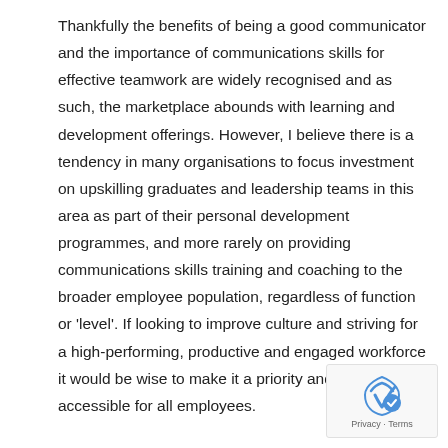Thankfully the benefits of being a good communicator and the importance of communications skills for effective teamwork are widely recognised and as such, the marketplace abounds with learning and development offerings. However, I believe there is a tendency in many organisations to focus investment on upskilling graduates and leadership teams in this area as part of their personal development programmes, and more rarely on providing communications skills training and coaching to the broader employee population, regardless of function or 'level'. If looking to improve culture and striving for a high-performing, productive and engaged workforce it would be wise to make it a priority and more accessible for all employees.